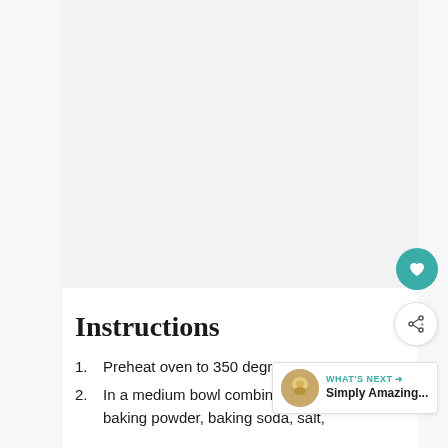[Figure (photo): Large image area (top portion cut off/blank in this view) — appears to be a recipe photo]
Instructions
Preheat oven to 350 degrees
In a medium bowl combine the flour, baking powder, baking soda, salt,